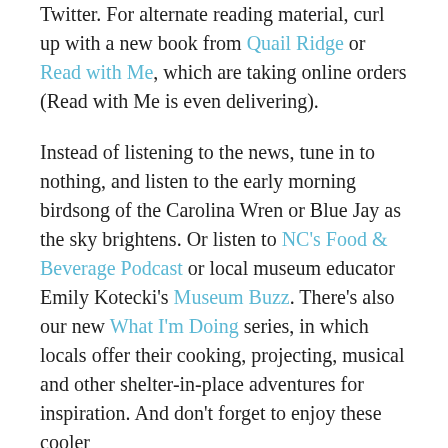Twitter. For alternate reading material, curl up with a new book from Quail Ridge or Read with Me, which are taking online orders (Read with Me is even delivering).
Instead of listening to the news, tune in to nothing, and listen to the early morning birdsong of the Carolina Wren or Blue Jay as the sky brightens. Or listen to NC's Food & Beverage Podcast or local museum educator Emily Kotecki's Museum Buzz. There's also our new What I'm Doing series, in which locals offer their cooking, projecting, musical and other shelter-in-place adventures for inspiration. And don't forget to enjoy these cooler